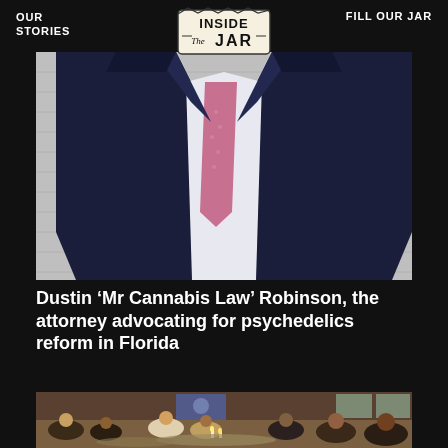OUR STORIES
[Figure (logo): Inside The Jar logo — hand-lettered style badge with text INSIDE The JAR]
FILL OUR JAR
[Figure (photo): A person in a dark suit with a pink/mauve tie, headless crop showing torso only, standing in front of a white siding wall background]
Dustin ‘Mr Cannabis Law’ Robinson, the attorney advocating for psychedelics reform in Florida
[Figure (photo): Group of people sitting in a circle on the floor in a room with wooden walls and windows, with candles and sheepskins in the center, appearing to be a ceremonial gathering or retreat]